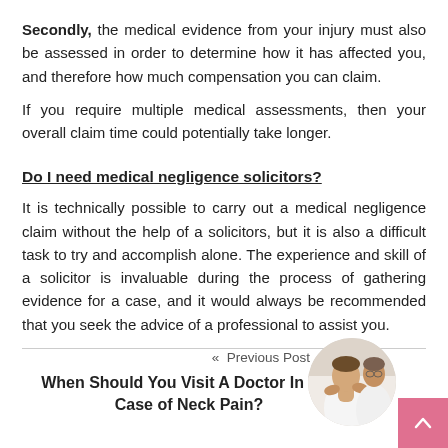Secondly, the medical evidence from your injury must also be assessed in order to determine how it has affected you, and therefore how much compensation you can claim.
If you require multiple medical assessments, then your overall claim time could potentially take longer.
Do I need medical negligence solicitors?
It is technically possible to carry out a medical negligence claim without the help of a solicitors, but it is also a difficult task to try and accomplish alone. The experience and skill of a solicitor is invaluable during the process of gathering evidence for a case, and it would always be recommended that you seek the advice of a professional to assist you.
« Previous Post
When Should You Visit A Doctor In The Case of Neck Pain?
[Figure (photo): Circular photo of a doctor examining a patient's neck/shoulder area. Doctor's hands visible on patient's neck.]